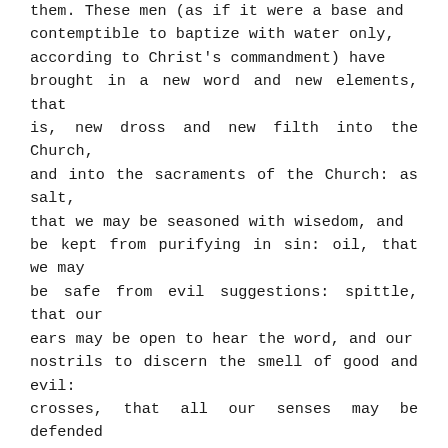them. These men (as if it were a base and contemptible thing to baptize with water only, according to Christ's commandment) have brought in a new word and new elements, that is, new dross and new filth into the Church, and into the sacraments of the Church: as salt, that we may be seasoned with wisedom, and be kept from purifying in sin: oil, that we may be safe from evil suggestions: spittle, that our ears may be open to hear the word, and our nostrils to discern the smell of good and evil: crosses, that all our senses may be defended against the evil spirit. True it is, if all the other parts and actions be observed, these inventions and additions, which are so many abuses make not baptism void, neither bring a nullity thereof: notwithstanding these beggarly ceremonies, as they are destitute of the testimony and